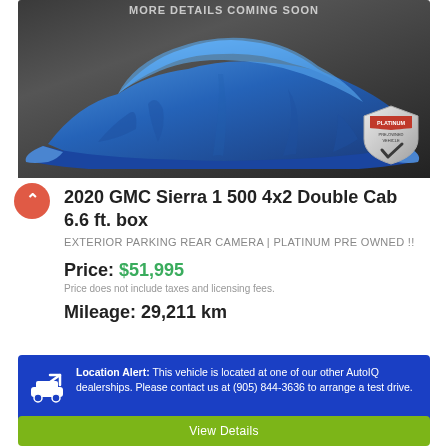[Figure (photo): Car covered with blue drape/cloth, with 'MORE DETAILS COMING SOON' text at top. Platinum Pre-Owned Vehicle badge in lower right corner.]
2020 GMC Sierra 1500 4x2 Double Cab 6.6 ft. box
EXTERIOR PARKING REAR CAMERA | PLATINUM PRE OWNED !!
Price: $51,995
Price does not include taxes and licensing fees.
Mileage: 29,211 km
Location Alert: This vehicle is located at one of our other AutoIQ dealerships. Please contact us at (905) 844-3636 to arrange a test drive.
View Details